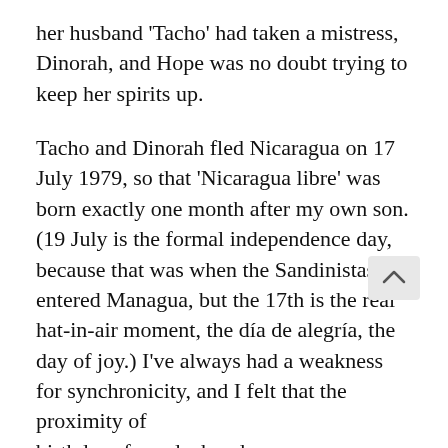her husband ‘Tacho’ had taken a mistress, Dinorah, and Hope was no doubt trying to keep her spirits up.
Tacho and Dinorah fled Nicaragua on 17 July 1979, so that ‘Nicaragua libre’ was born exactly one month after my own son. (19 July is the formal independence day, because that was when the Sandinistas entered Managua, but the 17th is the real hat-in-air moment, the día de alegría, the day of joy.) I’ve always had a weakness for synchronicity, and I felt that the proximity of birthdays forged a bond.
When the Reagan administration began its war against Nicaragua, I recognized a deeper affinity with that small country in a continent (Central America) upon which I had never set foot. I grew daily more interested in its affairs, because, after